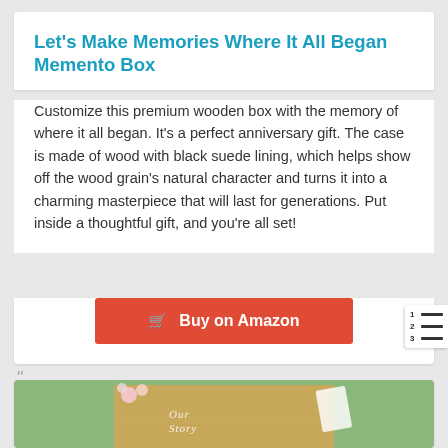Let's Make Memories Where It All Began Memento Box
Customize this premium wooden box with the memory of where it all began. It's a perfect anniversary gift. The case is made of wood with black suede lining, which helps show off the wood grain's natural character and turns it into a charming masterpiece that will last for generations. Put inside a thoughtful gift, and you're all set!
Buy on Amazon
[Figure (photo): Wooden memento box with script writing, flowers in background, white card leaning against box]